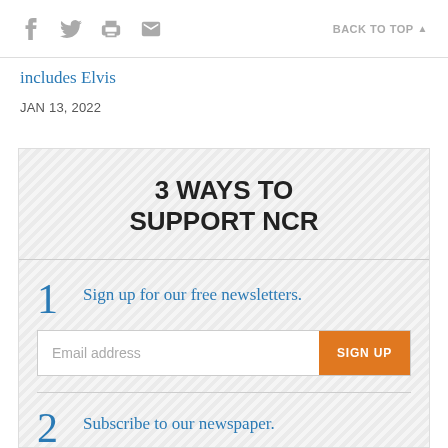f [twitter] [print] [email] BACK TO TOP
includes Elvis
JAN 13, 2022
3 WAYS TO SUPPORT NCR
1 Sign up for our free newsletters.
2 Subscribe to our newspaper.
[Figure (other): Broken image for Print + eNCR.png]